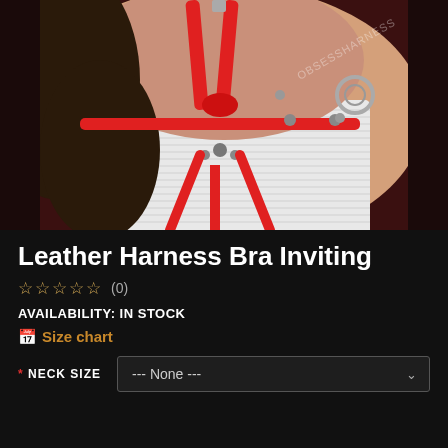[Figure (photo): Product photo of a red leather harness bra worn over a white ribbed top, with silver metal hardware and rings. Watermark reads OBSESSHARNESS.]
Leather Harness Bra Inviting
☆ ☆ ☆ ☆ ☆  (0)
AVAILABILITY: IN STOCK
📅 Size chart
* NECK SIZE  --- None ---